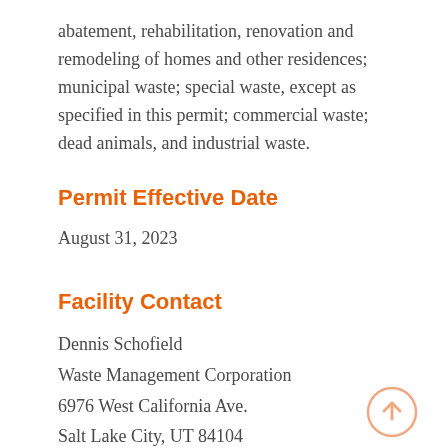abatement, rehabilitation, renovation and remodeling of homes and other residences; municipal waste; special waste, except as specified in this permit; commercial waste; dead animals, and industrial waste.
Permit Effective Date
August 31, 2023
Facility Contact
Dennis Schofield
Waste Management Corporation
6976 West California Ave.
Salt Lake City, UT 84104